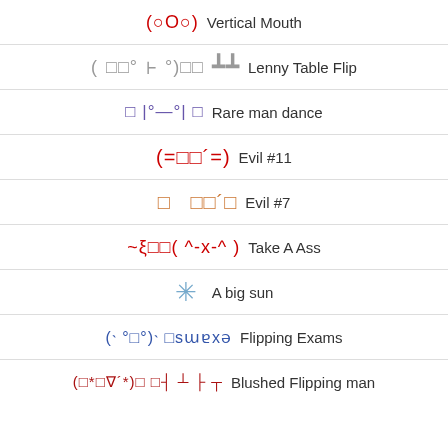(○O○) Vertical Mouth
(□□°˫°)□□┻┻ Lenny Table Flip
□ |°—°| □ Rare man dance
(=□□´=) Evil #11
□   □□´□ Evil #7
~ξ□□( ^-x-^ ) Take A Ass
✳ A big sun
(˴ °□°)˴ □sɯɐxǝ Flipping Exams
(□*□∇´*)□ □┤ ┴ ├ ┬ Blushed Flipping man